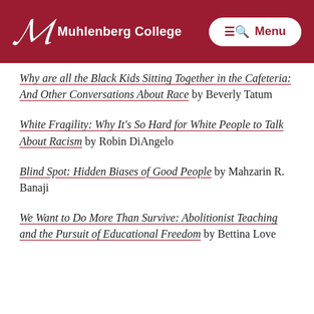Muhlenberg College
Why are all the Black Kids Sitting Together in the Cafeteria: And Other Conversations About Race by Beverly Tatum
White Fragility: Why It's So Hard for White People to Talk About Racism by Robin DiAngelo
Blind Spot: Hidden Biases of Good People by Mahzarin R. Banaji
We Want to Do More Than Survive: Abolitionist Teaching and the Pursuit of Educational Freedom by Bettina Love